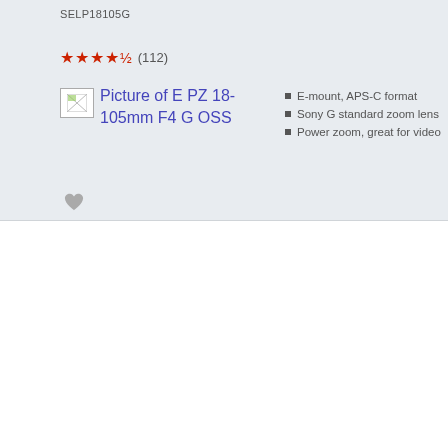SELP18105G
★★★★½ (112)
[Figure (photo): Broken/placeholder image icon for E PZ 18-105mm F4 G OSS product]
Picture of E PZ 18-105mm F4 G OSS
E-mount, APS-C format
Sony G standard zoom lens
Power zoom, great for video
[Figure (illustration): Heart/wishlist icon]
Select to compare
More product information
Buy